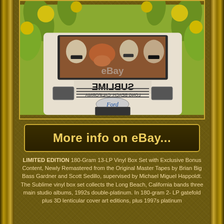[Figure (photo): Album cover photo showing a white van/camper truck with 'SUBLIME LONG BEACH, CALIFORNIA' written in mirror text on the hood. Four figures including a dog are visible through the windshield. The background features yellow-green floral/citrus designs. An eBay watermark is visible in the center.]
More info on eBay...
LIMITED EDITION 180-Gram 13-LP Vinyl Box Set with Exclusive Bonus Content, Newly Remastered from the Original Master Tapes by Brian Big Bass Gardner and Scott Sedillo, supervised by Michael Miguel Happoldt. The Sublime vinyl box set collects the Long Beach, California bands three main studio albums, 1992s double-platinum. In 180-gram 2-LP gatefold plus 3D lenticular cover art editions, plus 1997s platinum